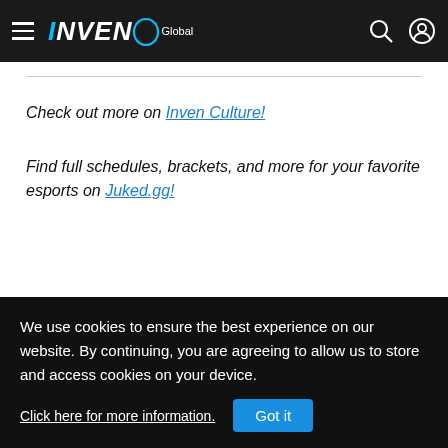INVEN Global
Check out more on Inven Culture!
Find full schedules, brackets, and more for your favorite esports on Juked.gg!
We use cookies to ensure the best experience on our website. By continuing, you are agreeing to allow us to store and access cookies on your device. Click here for more information. Got it